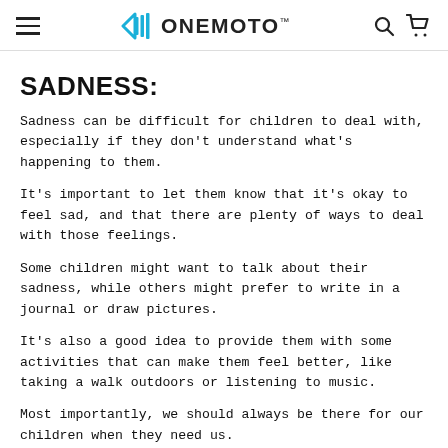ONEMOTO™
SADNESS:
Sadness can be difficult for children to deal with, especially if they don't understand what's happening to them.
It's important to let them know that it's okay to feel sad, and that there are plenty of ways to deal with those feelings.
Some children might want to talk about their sadness, while others might prefer to write in a journal or draw pictures.
It's also a good idea to provide them with some activities that can make them feel better, like taking a walk outdoors or listening to music.
Most importantly, we should always be there for our children when they need us.
If they seem like they're really struggling, it might be a good idea